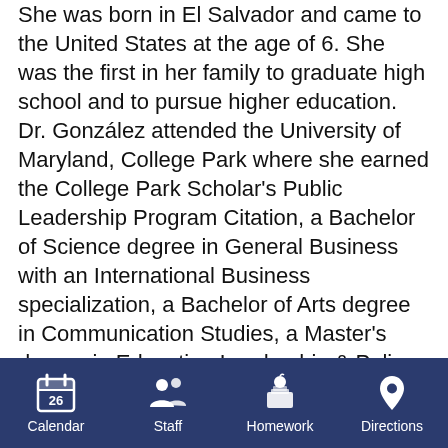She was born in El Salvador and came to the United States at the age of 6. She was the first in her family to graduate high school and to pursue higher education. Dr. González attended the University of Maryland, College Park where she earned the College Park Scholar's Public Leadership Program Citation, a Bachelor of Science degree in General Business with an International Business specialization, a Bachelor of Arts degree in Communication Studies, a Master's degree in Education Leadership & Policy Studies, and her Ph.D. degree in Higher Education, Student Affairs, and International Education Policy. She was previous Diversity Officer particularly working on Latino Affairs for Prince George's County Public Schools. She has been a research assistant in various projects related to ELLs across elementary schools in the Mid-Atlantic area, served as a Latino/a Parent Empowerment Liaison at a local middle school, coordinated a mentoring program
Calendar | Staff | Homework | Directions